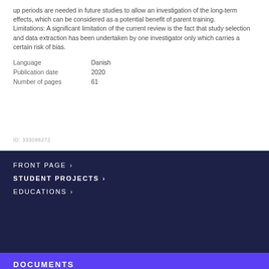up periods are needed in future studies to allow an investigation of the long-term effects, which can be considered as a potential benefit of parent training. Limitations: A significant limitation of the current review is the fact that study selection and data extraction has been undertaken by one investigator only which carries a certain risk of bias.
| Language | Danish |
| Publication date | 2020 |
| Number of pages | 61 |
ID: 333088272
FRONT PAGE ›
STUDENT PROJECTS ›
EDUCATIONS ›
DOCUMENTS
Effekt_af_foraldretraning_i_behandling_af_born_og_unge_med_ADHD
743 KB, PDF document